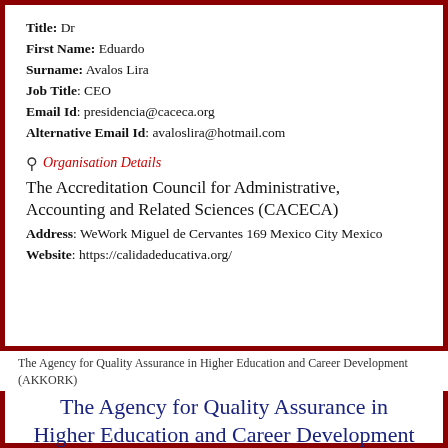Title: Dr
First Name: Eduardo
Surname: Avalos Lira
Job Title: CEO
Email Id: presidencia@caceca.org
Alternative Email Id: avaloslira@hotmail.com
Organisation Details
The Accreditation Council for Administrative, Accounting and Related Sciences (CACECA)
Address: WeWork Miguel de Cervantes 169 Mexico City Mexico
Website: https://calidadeducativa.org/
The Agency for Quality Assurance in Higher Education and Career Development (AKKORK)
The Agency for Quality Assurance in Higher Education and Career Development